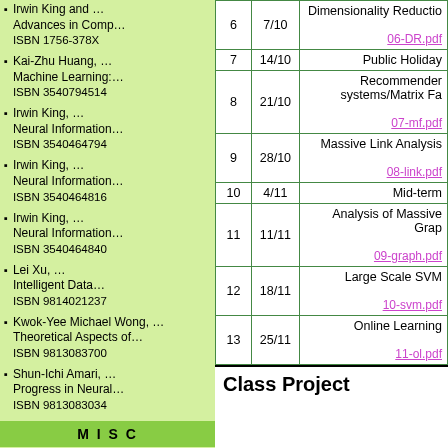Irwin King and … Advances in Comp… ISBN 1756-378X
Kai-Zhu Huang, … Machine Learning:… ISBN 3540794514
Irwin King, … Neural Information… ISBN 3540464794
Irwin King, … Neural Information… ISBN 3540464816
Irwin King, … Neural Information… ISBN 3540464840
Lei Xu, … Intelligent Data… ISBN 9814021237
Kwok-Yee Michael Wong, … Theoretical Aspects of… ISBN 9813083700
Shun-Ichi Amari, … Progress in Neural… ISBN 9813083034
MISC
Knowledge Bank
| # | Date | Topic |
| --- | --- | --- |
| 6 | 7/10 | Dimensionality Reduction
06-DR.pdf |
| 7 | 14/10 | Public Holiday |
| 8 | 21/10 | Recommender systems/Matrix Fa
07-mf.pdf |
| 9 | 28/10 | Massive Link Analysis
08-link.pdf |
| 10 | 4/11 | Mid-term |
| 11 | 11/11 | Analysis of Massive Grap
09-graph.pdf |
| 12 | 18/11 | Large Scale SVM
10-svm.pdf |
| 13 | 25/11 | Online Learning
11-ol.pdf |
Class Project